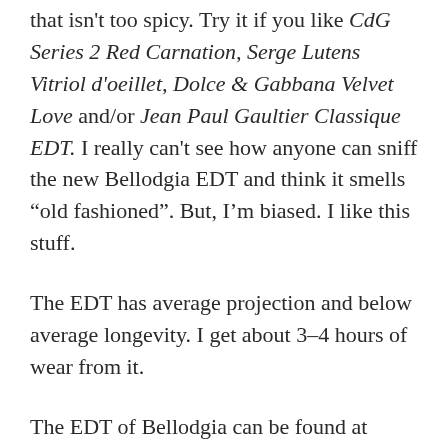that isn't too spicy. Try it if you like CdG Series 2 Red Carnation, Serge Lutens Vitriol d'oeillet, Dolce & Gabbana Velvet Love and/or Jean Paul Gaultier Classique EDT. I really can't see how anyone can sniff the new Bellodgia EDT and think it smells "old fashioned". But, I'm biased. I like this stuff.
The EDT has average projection and below average longevity. I get about 3–4 hours of wear from it.
The EDT of Bellodgia can be found at Caron boutiques. You can also find it discounted on Fragrancenet.